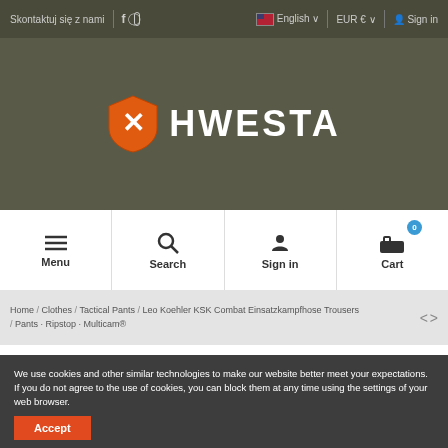Skontaktuj się z nami | f [instagram] | English EUR € Sign in
[Figure (logo): HWESTA logo with orange shield/X mark and white bold text HWESTA]
Menu  Search  Sign in  Cart
Home / Clothes / Tactical Pants / Leo Koehler KSK Combat Einsatzkampfhose Trousers / Pants - Ripstop - Multicam®
We use cookies and other similar technologies to make our website better meet your expectations. If you do not agree to the use of cookies, you can block them at any time using the settings of your web browser.
Accept